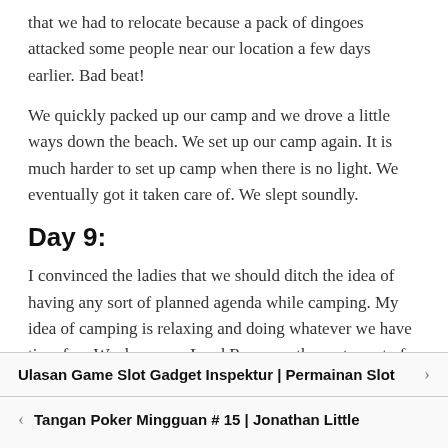that we had to relocate because a pack of dingoes attacked some people near our location a few days earlier. Bad beat!
We quickly packed up our camp and we drove a little ways down the beach. We set up our camp again. It is much harder to set up camp when there is no light. We eventually got it taken care of. We slept soundly.
Day 9:
I convinced the ladies that we should ditch the idea of having any sort of planned agenda while camping. My idea of camping is relaxing and doing whatever we have time for.  We drove our Land Rover up the east coast of the island. The west coast of the island is not safe to drive on due to the overly wet sand. If you try to drive there, your vehicle will surely
Ulasan Game Slot Gadget Inspektur | Permainan Slot
Tangan Poker Mingguan # 15 | Jonathan Little